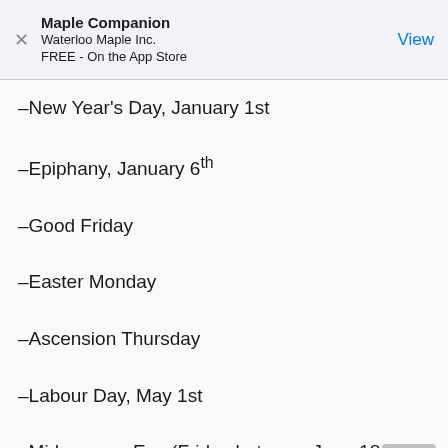Maple Companion
Waterloo Maple Inc.
FREE - On the App Store
–New Year's Day, January 1st
–Epiphany, January 6th
–Good Friday
–Easter Monday
–Ascension Thursday
–Labour Day, May 1st
–Midsummer Eve (Friday between June 18-24)
–Independence Day, December 6th